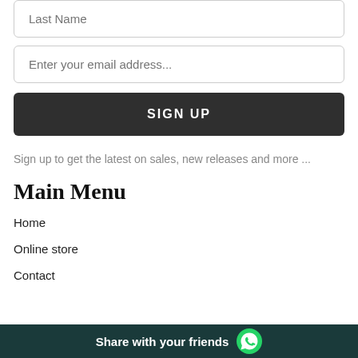Last Name
Enter your email address...
SIGN UP
Sign up to get the latest on sales, new releases and more ...
Main Menu
Home
Online store
Contact
Share with your friends